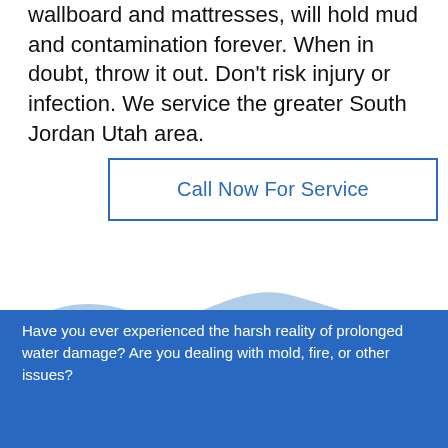wallboard and mattresses, will hold mud and contamination forever. When in doubt, throw it out. Don't risk injury or infection. We service the greater South Jordan Utah area.
Call Now For Service
[Figure (illustration): Decorative wave illustration with light blue wave shapes on white background transitioning to solid blue background below]
Have you ever experienced the harsh reality of prolonged water damage? Are you dealing with mold, fire, or other issues?